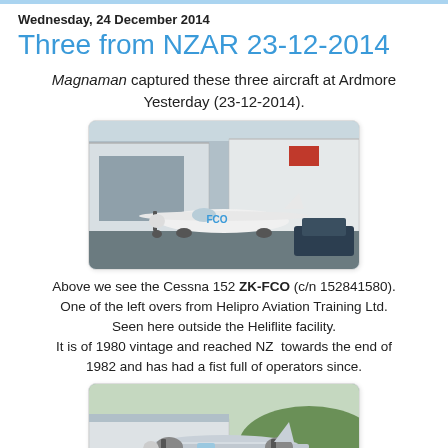Wednesday, 24 December 2014
Three from NZAR 23-12-2014
Magnaman captured these three aircraft at Ardmore Yesterday (23-12-2014).
[Figure (photo): Photo of a white Cessna 152 aircraft with registration ZK-FCO parked outside a hangar facility.]
Above we see the Cessna 152 ZK-FCO (c/n 152841580). One of the left overs from Helipro Aviation Training Ltd. Seen here outside the Heliflite facility. It is of 1980 vintage and reached NZ towards the end of 1982 and has had a fist full of operators since.
[Figure (photo): Photo of a twin-engine aircraft on the ground at an airfield with hills in the background.]